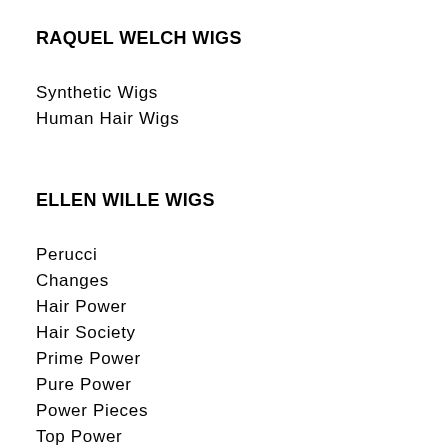RAQUEL WELCH WIGS
Synthetic Wigs
Human Hair Wigs
ELLEN WILLE WIGS
Perucci
Changes
Hair Power
Hair Society
Prime Power
Pure Power
Power Pieces
Top Power
Stimulate